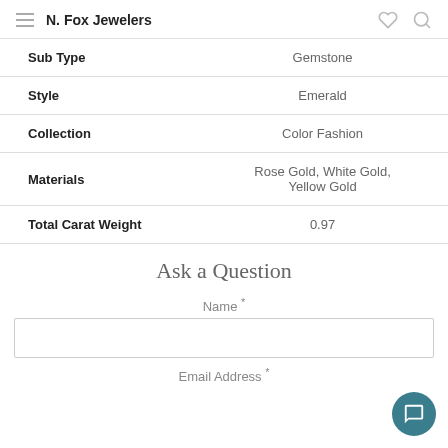N. Fox Jewelers
| Attribute | Value |
| --- | --- |
| Sub Type | Gemstone |
| Style | Emerald |
| Collection | Color Fashion |
| Materials | Rose Gold, White Gold, Yellow Gold |
| Total Carat Weight | 0.97 |
Ask a Question
Name *
Email Address *